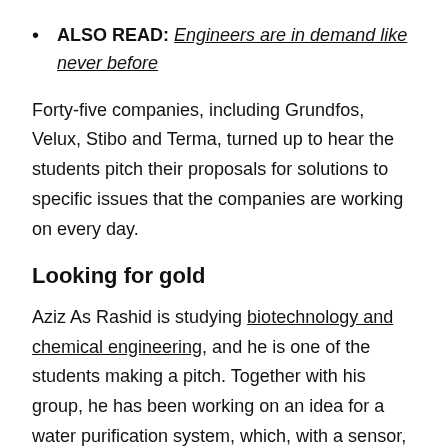ALSO READ: Engineers are in demand like never before
Forty-five companies, including Grundfos, Velux, Stibo and Terma, turned up to hear the students pitch their proposals for solutions to specific issues that the companies are working on every day.
Looking for gold
Aziz As Rashid is studying biotechnology and chemical engineering, and he is one of the students making a pitch. Together with his group, he has been working on an idea for a water purification system, which, with a sensor, can measure water pollution and, with the help of artificial intelligence and machine learning, can